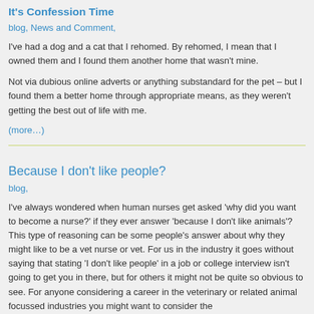It's Confession Time
blog, News and Comment,
I've had a dog and a cat that I rehomed. By rehomed, I mean that I owned them and I found them another home that wasn't mine.
Not via dubious online adverts or anything substandard for the pet – but I found them a better home through appropriate means, as they weren't getting the best out of life with me.
(more…)
Because I don't like people?
blog,
I've always wondered when human nurses get asked 'why did you want to become a nurse?' if they ever answer 'because I don't like animals'? This type of reasoning can be some people's answer about why they might like to be a vet nurse or vet. For us in the industry it goes without saying that stating 'I don't like people' in a job or college interview isn't going to get you in there, but for others it might not be quite so obvious to see. For anyone considering a career in the veterinary or related animal focussed industries you might want to consider the